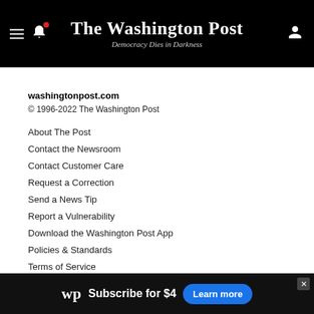The Washington Post — Democracy Dies in Darkness
washingtonpost.com
© 1996-2022 The Washington Post
About The Post
Contact the Newsroom
Contact Customer Care
Request a Correction
Send a News Tip
Report a Vulnerability
Download the Washington Post App
Policies & Standards
Terms of Service
Privacy Policy
Cookie Settings
[Figure (screenshot): Washington Post advertisement banner: WP logo, 'Subscribe for $4', 'Learn more' button]